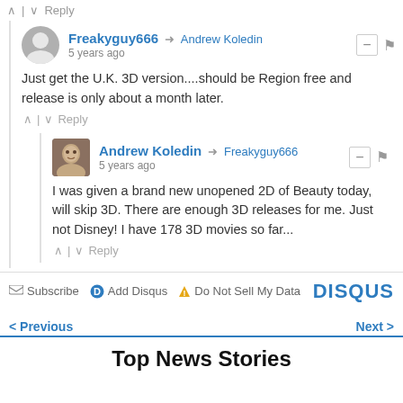^ | v Reply
Freakyguy666 → Andrew Koledin  5 years ago
Just get the U.K. 3D version....should be Region free and release is only about a month later.
^ | v Reply
Andrew Koledin → Freakyguy666  5 years ago
I was given a brand new unopened 2D of Beauty today, will skip 3D. There are enough 3D releases for me. Just not Disney! I have 178 3D movies so far...
^ | v Reply
✉ Subscribe  D Add Disqus  ⚠ Do Not Sell My Data   DISQUS
< Previous    Next >
Top News Stories